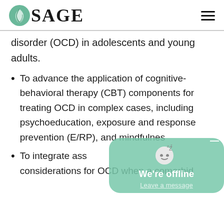SAGE
disorder (OCD) in adolescents and young adults.
To advance the application of cognitive-behavioral therapy (CBT) components for treating OCD in complex cases, including psychoeducation, exposure and response prevention (E/RP), and mindfulness
To integrate ass... considerations for OCD when a comorbid